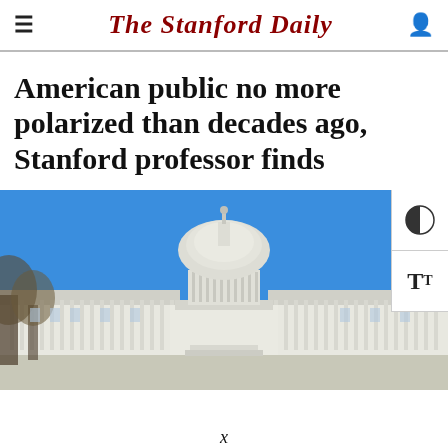The Stanford Daily
American public no more polarized than decades ago, Stanford professor finds
[Figure (photo): Photograph of the United States Capitol building against a bright blue sky, with bare trees visible on the left side and the iconic white dome prominently centered.]